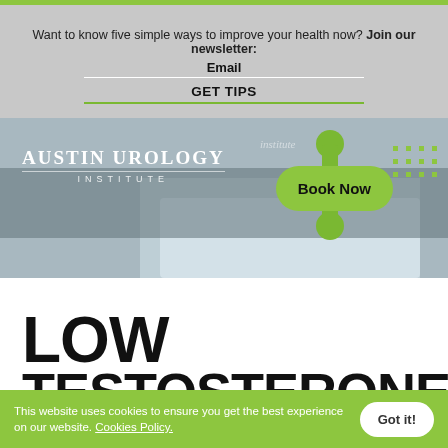Want to know five simple ways to improve your health now? Join our newsletter:
Email
GET TIPS
[Figure (photo): Austin Urology Institute hero banner with medical instrument and Book Now button]
LOW TESTOSTERONE
This website uses cookies to ensure you get the best experience on our website. Cookies Policy.